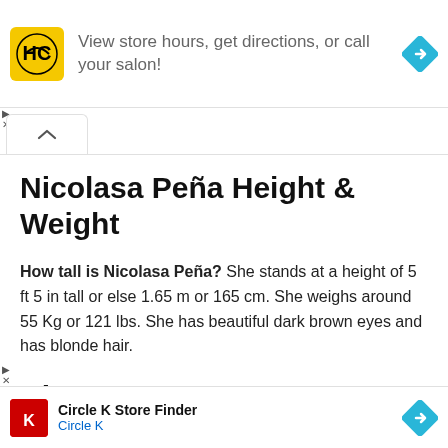[Figure (infographic): Top advertisement banner for Hair Club (HC) showing yellow logo, text 'View store hours, get directions, or call your salon!' and a blue navigation diamond icon]
Nicolasa Peña Height & Weight
How tall is Nicolasa Peña? She stands at a height of 5 ft 5 in tall or else 1.65 m or 165 cm. She weighs around 55 Kg or 121 lbs. She has beautiful dark brown eyes and has blonde hair.
Nicolasa Peña Life
[Figure (infographic): Bottom advertisement banner for Circle K Store Finder showing red Circle K logo and blue navigation diamond icon]